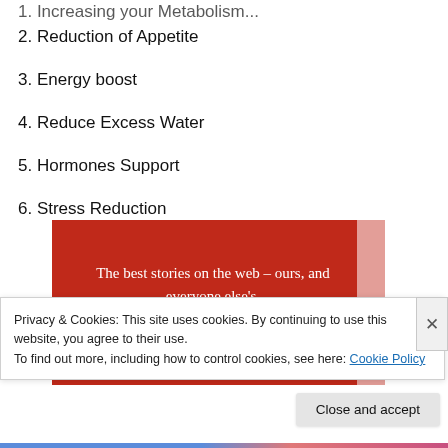1. [Increasing your Metabolism]
2. Reduction of Appetite
3. Energy boost
4. Reduce Excess Water
5. Hormones Support
6. Stress Reduction
[Figure (screenshot): Red advertisement banner reading 'The best stories on the web – ours, and everyone else's.' with a black 'Start reading' button]
Privacy & Cookies: This site uses cookies. By continuing to use this website, you agree to their use.
To find out more, including how to control cookies, see here: Cookie Policy
Close and accept